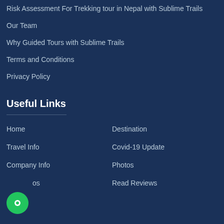Risk Assessment For Trekking tour in Nepal with Sublime Trails
Our Team
Why Guided Tours with Sublime Trails
Terms and Conditions
Privacy Policy
Useful Links
Home
Destination
Travel Info
Covid-19 Update
Company Info
Photos
...os
Read Reviews